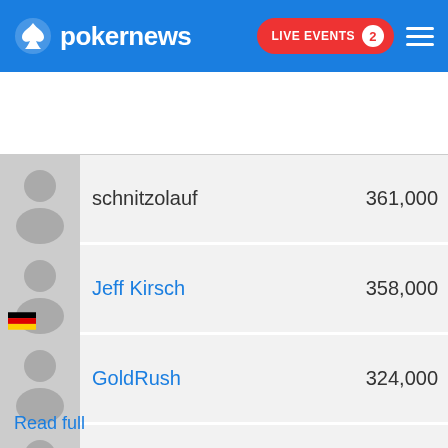pokernews — LIVE EVENTS 2
[Figure (screenshot): Navigation tab bar with icons: UPDATES (active, blue), CHIPS, GALLERY, VIDEOS]
schnitzolauf — 361,000
Jeff Kirsch — 358,000
GoldRush — 324,000
11Y11 — 264,000
Read full